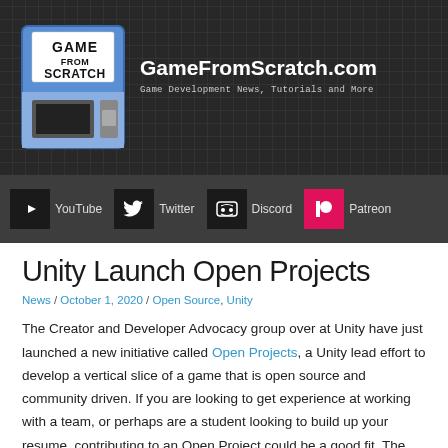GameFromScratch.com — Game Development News, Tutorials and More
[Figure (logo): Game From Scratch floppy disk logo with blue and grey design, white text reading GAME FROM SCRATCH]
GameFromScratch.com
Game Development News, Tutorials and More
[Figure (infographic): Navigation bar with YouTube, Twitter, Discord, and Patreon social media icons and labels]
Unity Launch Open Projects
News / October 1, 2020 / Open Source, Unity
The Creator and Developer Advocacy group over at Unity have just launched a new initiative called Open Projects, a Unity lead effort to develop a vertical slice of a game that is open source and community driven. If you are looking to get experience at working with a team, or perhaps are a student looking to build up your resume, contributing to an Open Project could be a good fit. The